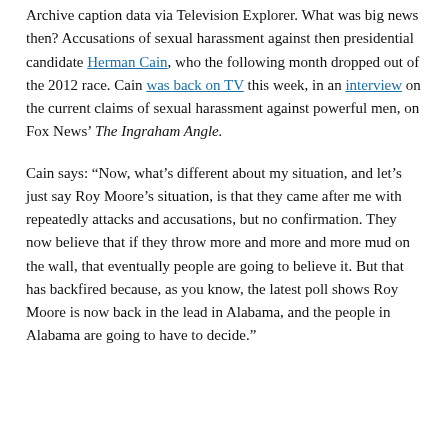Archive caption data via Television Explorer. What was big news then? Accusations of sexual harassment against then presidential candidate Herman Cain, who the following month dropped out of the 2012 race. Cain was back on TV this week, in an interview on the current claims of sexual harassment against powerful men, on Fox News' The Ingraham Angle.
Cain says: “Now, what’s different about my situation, and let’s just say Roy Moore’s situation, is that they came after me with repeatedly attacks and accusations, but no confirmation. They now believe that if they throw more and more and more mud on the wall, that eventually people are going to believe it. But that has backfired because, as you know, the latest poll shows Roy Moore is now back in the lead in Alabama, and the people in Alabama are going to have to decide.”